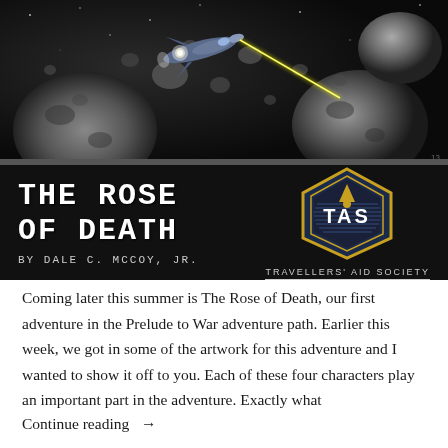[Figure (illustration): Science fiction book cover for 'The Rose of Death' by Dale C. McCoy, Jr. Top portion shows a spacecraft firing a laser beam among asteroids in space (black and white/grey). Bottom black band shows the title in white futuristic font and a TAS (Travellers' Aid Society) hexagonal logo in gold and blue.]
Coming later this summer is The Rose of Death, our first adventure in the Prelude to War adventure path. Earlier this week, we got in some of the artwork for this adventure and I wanted to show it off to you. Each of these four characters play an important part in the adventure. Exactly what
Continue reading →